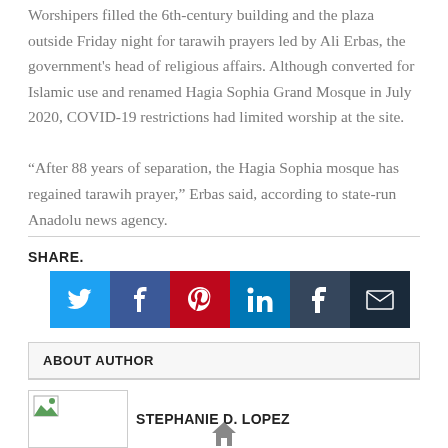Worshipers filled the 6th-century building and the plaza outside Friday night for tarawih prayers led by Ali Erbas, the government's head of religious affairs. Although converted for Islamic use and renamed Hagia Sophia Grand Mosque in July 2020, COVID-19 restrictions had limited worship at the site.
“After 88 years of separation, the Hagia Sophia mosque has regained tarawih prayer,” Erbas said, according to state-run Anadolu news agency.
SHARE.
[Figure (infographic): Social sharing icons row: Twitter (blue), Facebook (dark blue), Pinterest (red), LinkedIn (teal/blue), Tumblr (dark blue), Email (dark navy)]
ABOUT AUTHOR
[Figure (photo): Author photo placeholder with green image icon]
STEPHANIE D. LOPEZ
[Figure (illustration): Home/house icon]